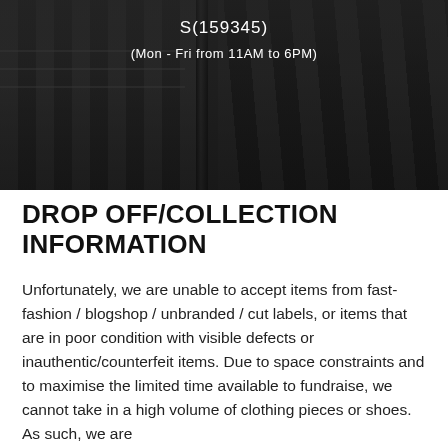[Figure (photo): Dark interior photo of a clothing store with racks of clothes hanging, a vertical pole/divider in the center, shelving on the left side, with overlaid white text showing 'S(159345)' and '(Mon - Fri from 11AM to 6PM)']
DROP OFF/COLLECTION INFORMATION
Unfortunately, we are unable to accept items from fast-fashion / blogshop / unbranded / cut labels, or items that are in poor condition with visible defects or inauthentic/counterfeit items. Due to space constraints and to maximise the limited time available to fundraise, we cannot take in a high volume of clothing pieces or shoes. As such, we are